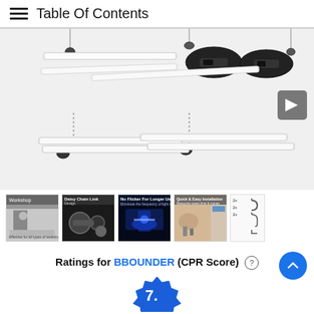Table Of Contents
[Figure (photo): Product photo of BBOUNDER LED shop lights (4-pack), showing four long LED light fixtures suspended by chains and hooks from the ceiling, with daisy-chain power connectors visible on two of the lights. White/silver lighting tubes on a light background.]
[Figure (photo): Thumbnail strip with 5 product/feature images: 1) Workshop scene with a person working under LED lights, 2) Daisy Chain Link Design feature image showing machinery, 3) No Flicker For Longer Use feature image with blue lighting, 4) Quick & Easy Installation with customer image overlay showing mounting hardware, 5) Partial view of installation diagram showing hooks and screws.]
Ratings for BBOUNDER (CPR Score) ?
[Figure (other): Partial blue badge/seal showing a score, partially cut off at the bottom of the page, showing '7.' with the rest out of view.]